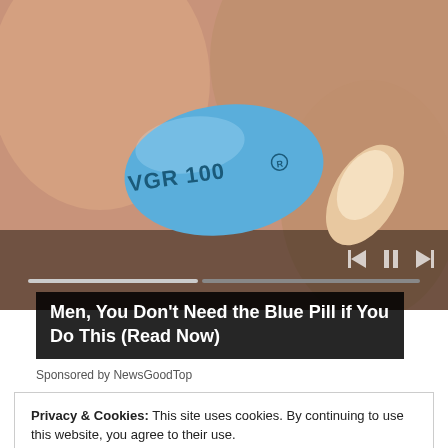[Figure (photo): Close-up photograph of fingers holding a blue diamond-shaped pill labeled VGR 100, with video player controls (previous, pause, next) and a progress bar overlay.]
Men, You Don't Need the Blue Pill if You Do This (Read Now)
Sponsored by NewsGoodTop
Privacy & Cookies: This site uses cookies. By continuing to use this website, you agree to their use.
To find out more, including how to control cookies, see here: Cookie Policy
Close and accept